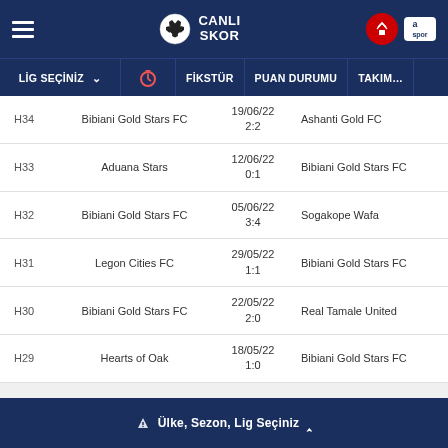CANLI SKOR
| Round | Home | Date/Score | Away |
| --- | --- | --- | --- |
| H34 | Bibiani Gold Stars FC | 19/06/22
2:2 | Ashanti Gold FC |
| H33 | Aduana Stars | 12/06/22
0:1 | Bibiani Gold Stars FC |
| H32 | Bibiani Gold Stars FC | 05/06/22
3:4 | Sogakope Wafa |
| H31 | Legon Cities FC | 29/05/22
1:1 | Bibiani Gold Stars FC |
| H30 | Bibiani Gold Stars FC | 22/05/22
2:0 | Real Tamale United |
| H29 | Hearts of Oak | 18/05/22
1:0 | Bibiani Gold Stars FC |
Ülke, Sezon, Lig Seçiniz